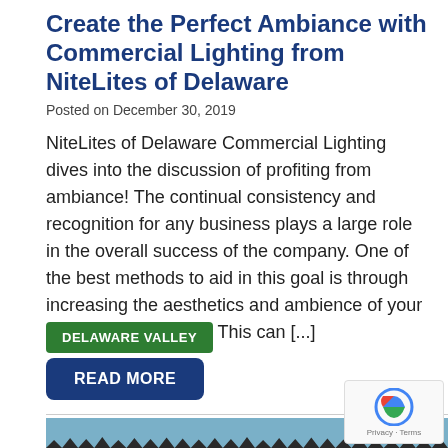Create the Perfect Ambiance with Commercial Lighting from NiteLites of Delaware
Posted on December 30, 2019
NiteLites of Delaware Commercial Lighting dives into the discussion of profiting from ambiance! The continual consistency and recognition for any business plays a large role in the overall success of the company. One of the best methods to aid in this goal is through increasing the aesthetics and ambience of your commercial property. This can [...]
DELAWARE VALLEY
READ MORE
[Figure (photo): Winter scene with snow-covered trees against a blue sky]